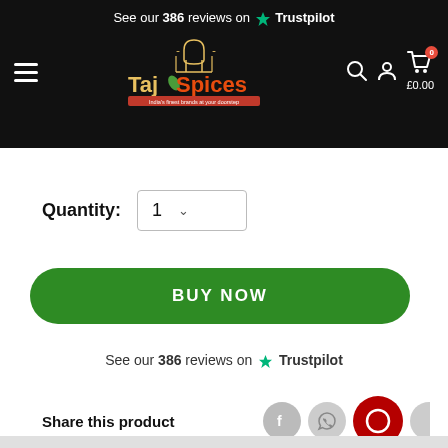See our 386 reviews on Trustpilot — TajSpices navigation header with hamburger menu, search, account, and cart (£0.00)
Quantity: 1
BUY NOW
See our 386 reviews on Trustpilot
Share this product